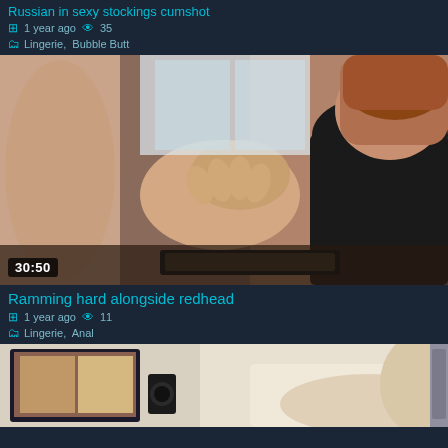Russian in sexy stockings cumshot
1 year ago   35
Lingerie,  Bubble Butt
[Figure (photo): Video thumbnail showing adult content, duration 30:50]
Ramming hard alongside redhead
1 year ago   11
Lingerie,  Anal
[Figure (photo): Video thumbnail showing adult content, partial view]